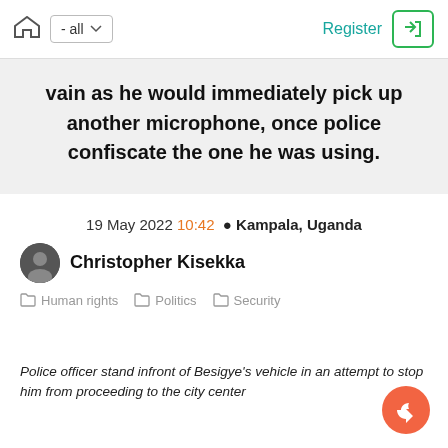- all  Register
vain as he would immediately pick up another microphone, once police confiscate the one he was using.
19 May 2022 10:42 📍 Kampala, Uganda
Christopher Kisekka
Human rights  Politics  Security
Police officer stand infront of Besigye's vehicle in an attempt to stop him from proceeding to the city center